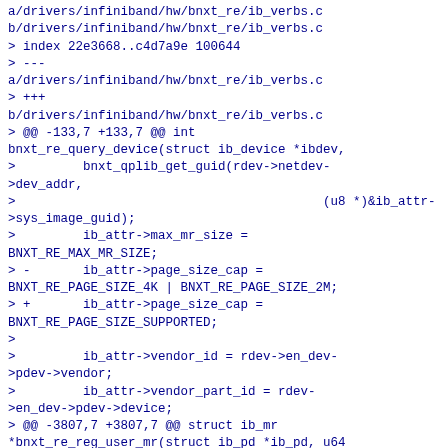a/drivers/infiniband/hw/bnxt_re/ib_verbs.c
b/drivers/infiniband/hw/bnxt_re/ib_verbs.c
> index 22e3668..c4d7a9e 100644
> ---
a/drivers/infiniband/hw/bnxt_re/ib_verbs.c
> +++
b/drivers/infiniband/hw/bnxt_re/ib_verbs.c
> @@ -133,7 +133,7 @@ int bnxt_re_query_device(struct ib_device *ibdev,
>         bnxt_qplib_get_guid(rdev->netdev->dev_addr,
>                                         (u8 *)&ib_attr->sys_image_guid);
>         ib_attr->max_mr_size = BNXT_RE_MAX_MR_SIZE;
> -       ib_attr->page_size_cap = BNXT_RE_PAGE_SIZE_4K | BNXT_RE_PAGE_SIZE_2M;
> +       ib_attr->page_size_cap = BNXT_RE_PAGE_SIZE_SUPPORTED;
> 
>         ib_attr->vendor_id = rdev->en_dev->pdev->vendor;
>         ib_attr->vendor_part_id = rdev->en_dev->pdev->device;
> @@ -3807,7 +3807,7 @@ struct ib_mr *bnxt_re_reg_user_mr(struct ib_pd *ib_pd, u64 start, u64 length,
> 
>         mr->qplib_mr.va = virt_addr;
>         page_size = ib_umem_find_best_pgsz(